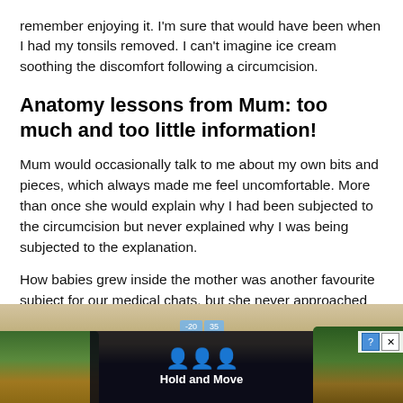remember enjoying it. I'm sure that would have been when I had my tonsils removed. I can't imagine ice cream soothing the discomfort following a circumcision.
Anatomy lessons from Mum: too much and too little information!
Mum would occasionally talk to me about my own bits and pieces, which always made me feel uncomfortable. More than once she would explain why I had been subjected to the circumcision but never explained why I was being subjected to the explanation.
How babies grew inside the mother was another favourite subject for our medical chats, but she never approached the subject of what happened before that. This particular
[Figure (screenshot): Advertisement banner at the bottom of the page showing a 'Hold and Move' app/game with dark overlay, people icon, trees in background, and close/help buttons]